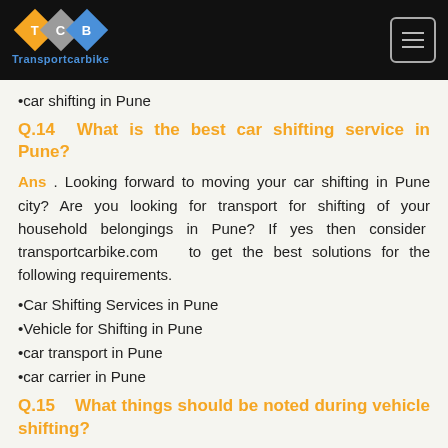TCB Transportcarbike [logo and navigation]
•car shifting in Pune
Q.14 What is the best car shifting service in Pune?
Ans . Looking forward to moving your car shifting in Pune city? Are you looking for transport for shifting of your household belongings in Pune? If yes then consider transportcarbike.com to get the best solutions for the following requirements.
•Car Shifting Services in Pune
•Vehicle for Shifting in Pune
•car transport in Pune
•car carrier in Pune
Q.15 What things should be noted during vehicle shifting?